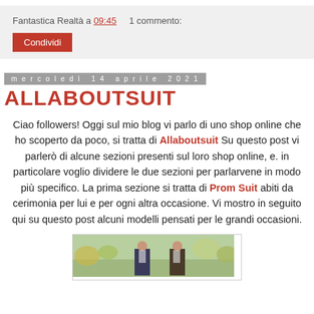Fantastica Realtà a 09:45    1 commento:
Condividi
mercoledì 14 aprile 2021
ALLABOUTSUIT
Ciao followers! Oggi sul mio blog vi parlo di uno shop online che ho scoperto da poco, si tratta di Allaboutsuit Su questo post vi parlerò di alcune sezioni presenti sul loro shop online, e. in particolare voglio dividere le due sezioni per parlarvene in modo più specifico. La prima sezione si tratta di Prom Suit abiti da cerimonia per lui e per ogni altra occasione. Vi mostro in seguito qui su questo post alcuni modelli pensati per le grandi occasioni.
[Figure (photo): Photo of people in suits outdoors with flowers/garden background]